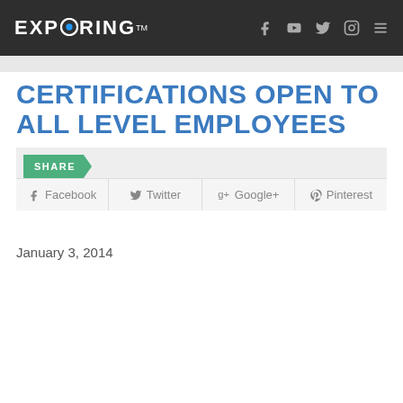EXPLORING
CERTIFICATIONS OPEN TO ALL LEVEL EMPLOYEES
SHARE | Facebook | Twitter | Google+ | Pinterest
January 3, 2014